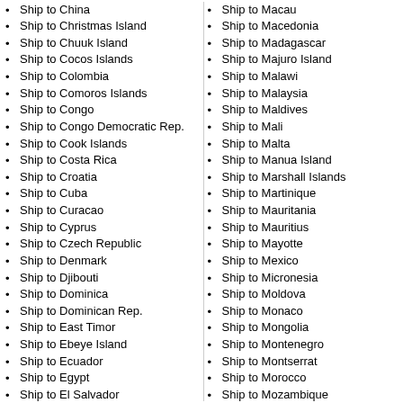Ship to China
Ship to Christmas Island
Ship to Chuuk Island
Ship to Cocos Islands
Ship to Colombia
Ship to Comoros Islands
Ship to Congo
Ship to Congo Democratic Rep.
Ship to Cook Islands
Ship to Costa Rica
Ship to Croatia
Ship to Cuba
Ship to Curacao
Ship to Cyprus
Ship to Czech Republic
Ship to Denmark
Ship to Djibouti
Ship to Dominica
Ship to Dominican Rep.
Ship to East Timor
Ship to Ebeye Island
Ship to Ecuador
Ship to Egypt
Ship to El Salvador
Ship to Equatorial Guinea
Ship to Eritrea
Ship to Estonia
Ship to Ethiopia
Ship to Falkland islands
Ship to Faroe Islands
Ship to Fiji
Ship to Finland
Ship to Macau
Ship to Macedonia
Ship to Madagascar
Ship to Majuro Island
Ship to Malawi
Ship to Malaysia
Ship to Maldives
Ship to Mali
Ship to Malta
Ship to Manua Island
Ship to Marshall Islands
Ship to Martinique
Ship to Mauritania
Ship to Mauritius
Ship to Mayotte
Ship to Mexico
Ship to Micronesia
Ship to Moldova
Ship to Monaco
Ship to Mongolia
Ship to Montenegro
Ship to Montserrat
Ship to Morocco
Ship to Mozambique
Ship to Myanmar
Ship to Namibia
Ship to Nauru
Ship to Nepal
Ship to Netherlands
Ship to Netherlands Ant
Ship to Nevis
Ship to New Caledonia
Ship to New Zealand